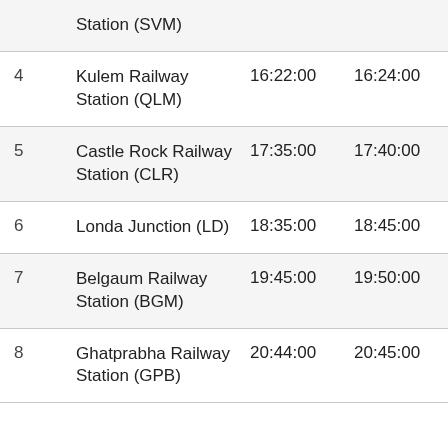| # | Station | Arrival | Departure | Halt |
| --- | --- | --- | --- | --- |
|  | Station (SVM) |  |  |  |
| 4 | Kulem Railway Station (QLM) | 16:22:00 | 16:24:00 | 02 Min |
| 5 | Castle Rock Railway Station (CLR) | 17:35:00 | 17:40:00 | 05 Min |
| 6 | Londa Junction (LD) | 18:35:00 | 18:45:00 | 10 Min |
| 7 | Belgaum Railway Station (BGM) | 19:45:00 | 19:50:00 | 05 Min |
| 8 | Ghatprabha Railway Station (GPB) | 20:44:00 | 20:45:00 | 01 Min |